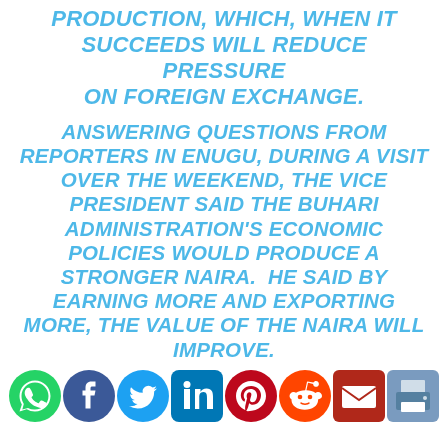PRODUCTION, WHICH, WHEN IT SUCCEEDS WILL REDUCE PRESSURE ON FOREIGN EXCHANGE.
ANSWERING QUESTIONS FROM REPORTERS IN ENUGU, DURING A VISIT OVER THE WEEKEND, THE VICE PRESIDENT SAID THE BUHARI ADMINISTRATION'S ECONOMIC POLICIES WOULD PRODUCE A STRONGER NAIRA. HE SAID BY EARNING MORE AND EXPORTING MORE, THE VALUE OF THE NAIRA WILL IMPROVE.
[Figure (infographic): Social sharing icons: WhatsApp (green), Facebook (blue), Twitter (light blue), LinkedIn (dark blue), Pinterest (red), Reddit (orange), Email (dark red), Print (blue/grey)]